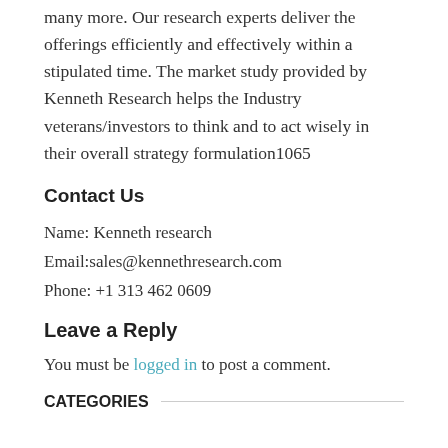many more. Our research experts deliver the offerings efficiently and effectively within a stipulated time. The market study provided by Kenneth Research helps the Industry veterans/investors to think and to act wisely in their overall strategy formulation1065
Contact Us
Name: Kenneth research
Email:sales@kennethresearch.com
Phone: +1 313 462 0609
Leave a Reply
You must be logged in to post a comment.
CATEGORIES